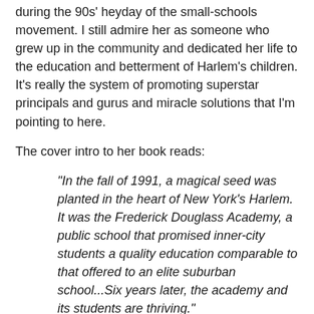during the 90s' heyday of the small-schools movement. I still admire her as someone who grew up in the community and dedicated her life to the education and betterment of Harlem's children. It's really the system of promoting superstar principals and gurus and miracle solutions that I'm pointing to here.
The cover intro to her book reads:
"In the fall of 1991, a magical seed was planted in the heart of New York's Harlem. It was the Frederick Douglass Academy, a public school that promised inner-city students a quality education comparable to that offered to an elite suburban school...Six years later, the academy and its students are thriving."
This morning's Times of course, tells a different story. The school never received the level of resources and support commonly found in rich, white suburban schools. Douglass has now received an F for progress on Klein's silly school grading system (it received a C grade overall) and it's not